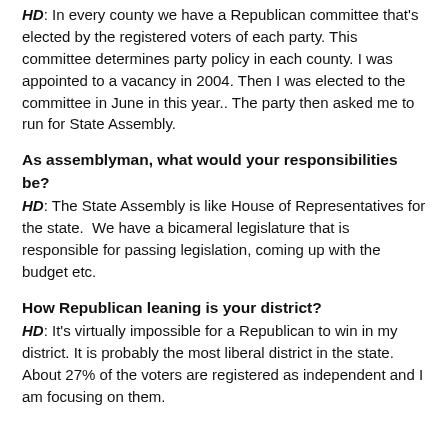HD: In every county we have a Republican committee that's elected by the registered voters of each party. This committee determines party policy in each county. I was appointed to a vacancy in 2004. Then I was elected to the committee in June in this year.. The party then asked me to run for State Assembly.
As assemblyman, what would your responsibilities be?
HD: The State Assembly is like House of Representatives for the state.  We have a bicameral legislature that is responsible for passing legislation, coming up with the budget etc.
How Republican leaning is your district?
HD: It's virtually impossible for a Republican to win in my district. It is probably the most liberal district in the state. About 27% of the voters are registered as independent and I am focusing on them.